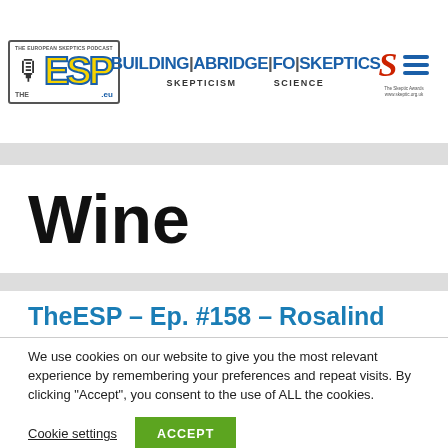[Figure (logo): TheESP European Skeptics Podcast logo with microphone icon and blue/yellow letters]
[Figure (logo): Building A Bridge For Skeptics logo with SKEPTICISM and SCIENCE subtitle]
[Figure (logo): Skeptic magazine S logo with blue hamburger menu lines and award text]
Wine
TheESP – Ep. #158 – Rosalind
We use cookies on our website to give you the most relevant experience by remembering your preferences and repeat visits. By clicking “Accept”, you consent to the use of ALL the cookies.
Cookie settings
ACCEPT